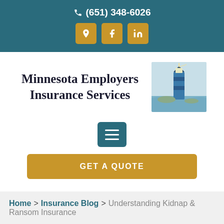(651) 348-6026
[Figure (logo): Lighthouse photo — blue lighthouse by the sea]
Minnesota Employers Insurance Services
[Figure (infographic): Hamburger menu button icon (three horizontal lines) on teal background]
GET A QUOTE
Home > Insurance Blog > Understanding Kidnap & Ransom Insurance